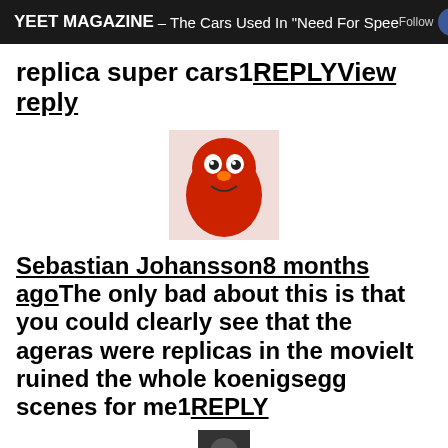YEET MAGAZINE – The Cars Used In "Need For Speed
replica super cars1REPLYView reply
[Figure (photo): Small avatar image of Elmo (red Muppet character) on a light background]
Sebastian Johansson8 months agoThe only bad about this is that you could clearly see that the ageras were replicas in the movieIt ruined the whole koenigsegg scenes for me1REPLY
[Figure (photo): Partial avatar image at bottom of page, dark/shadowy portrait]